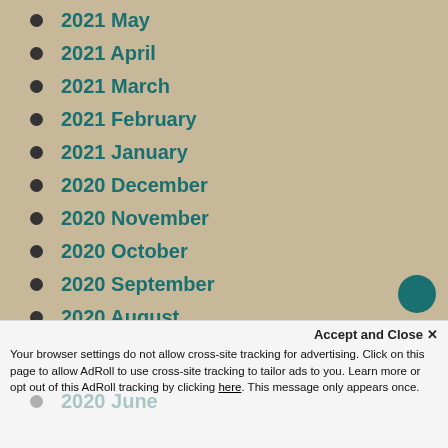2021 May
2021 April
2021 March
2021 February
2021 January
2020 December
2020 November
2020 October
2020 September
2020 August
2020 July
2020 June
Accept and Close ✕
Your browser settings do not allow cross-site tracking for advertising. Click on this page to allow AdRoll to use cross-site tracking to tailor ads to you. Learn more or opt out of this AdRoll tracking by clicking here. This message only appears once.